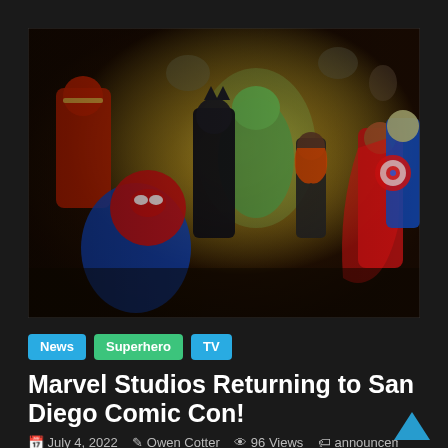[Figure (illustration): Marvel Studios Avengers concept art showing multiple superheroes including Iron Man, Spider-Man, Black Panther, Hulk, Black Widow, Scarlet Witch, Captain America charging into battle against a glowing background]
News
Superhero
TV
Marvel Studios Returning to San Diego Comic Con!
July 4, 2022  Owen Cotter  96 Views  announcement,
art, Comic con, Comics, Kevin Feige, Marvel Studios, MCU, news,
pop art, Pop Culture, President, Returning, SDCC, Superheroes, Thor